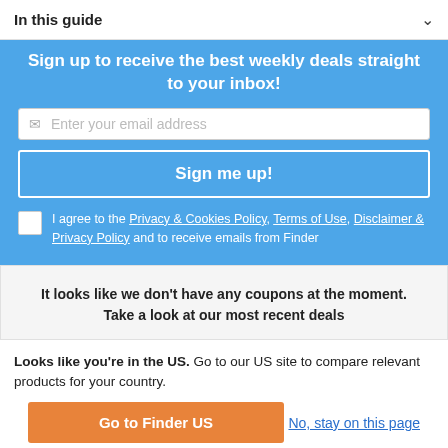In this guide
Sign up to receive the best weekly deals straight to your inbox!
Enter your email address
Sign me up!
I agree to the Privacy & Cookies Policy, Terms of Use, Disclaimer & Privacy Policy and to receive emails from Finder
It looks like we don't have any coupons at the moment. Take a look at our most recent deals
Looks like you're in the US. Go to our US site to compare relevant products for your country.
Go to Finder US
No, stay on this page